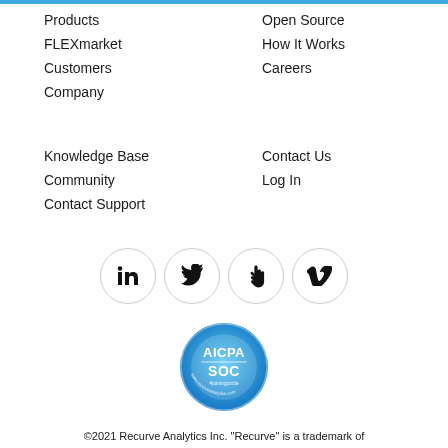Products
FLEXmarket
Customers
Company
Open Source
How It Works
Careers
Knowledge Base
Community
Contact Support
Contact Us
Log In
[Figure (other): Social media icons: LinkedIn, Twitter, peace/clap hand, Vimeo — each in a light gray circle]
[Figure (logo): AICPA SOC badge — blue circular seal with text AICPA SOC and additional text around the circle]
©2021 Recurve Analytics Inc. "Recurve" is a trademark of